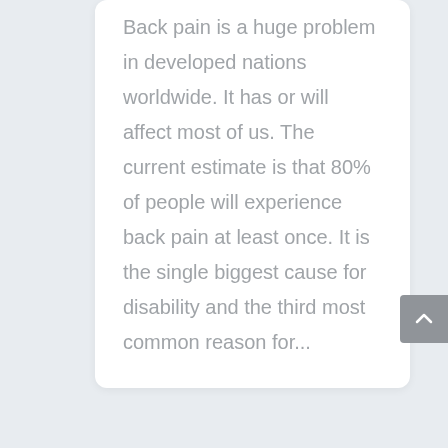Back pain is a huge problem in developed nations worldwide. It has or will affect most of us. The current estimate is that 80% of people will experience back pain at least once. It is the single biggest cause for disability and the third most common reason for...
« Older Entries